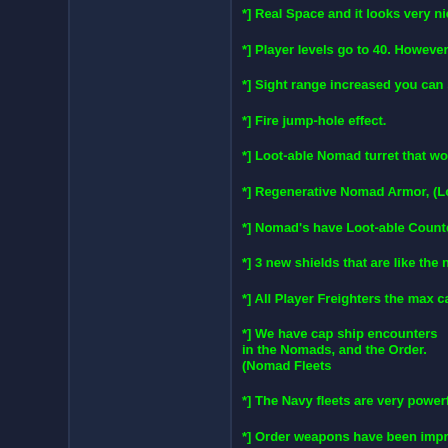*] Real Space and it looks very nice.
*] Player levels go to 40. However, Pla
*] Sight range increased you can see s
*] Fire jump-hole effect.
*] Loot-able Nomad turret that works o
*] Regenerative Nomad Armor, (Loot-a
*] Nomad's have Loot-able Counterme
*] 3 new shields that are like the noma
*] All Player Freighters the max cargo
*] We have cap ship encounters in the Nomads, and the Order. (Nomad Fleets
*] The Navy fleets are very powerful. T
*] Order weapons have been improved